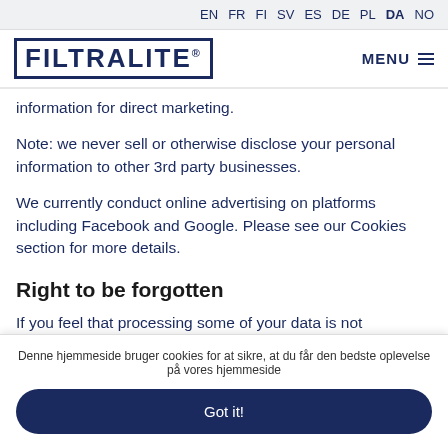EN FR FI SV ES DE PL DA NO
[Figure (logo): FILTRALITE logo with border and registered trademark symbol]
information for direct marketing.
Note: we never sell or otherwise disclose your personal information to other 3rd party businesses.
We currently conduct online advertising on platforms including Facebook and Google. Please see our Cookies section for more details.
Right to be forgotten
If you feel that processing some of your data is not necessary for our tasks, you have the right to request for us to remove this
Denne hjemmeside bruger cookies for at sikre, at du får den bedste oplevelse på vores hjemmeside
Got it!